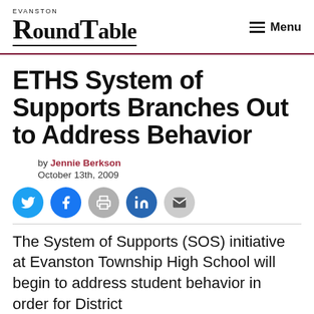Evanston RoundTable — Menu
ETHS System of Supports Branches Out to Address Behavior
by Jennie Berkson
October 13th, 2009
[Figure (infographic): Social share buttons: Twitter, Facebook, Print, LinkedIn, Email]
The System of Supports (SOS) initiative at Evanston Township High School will begin to address student behavior in order for District